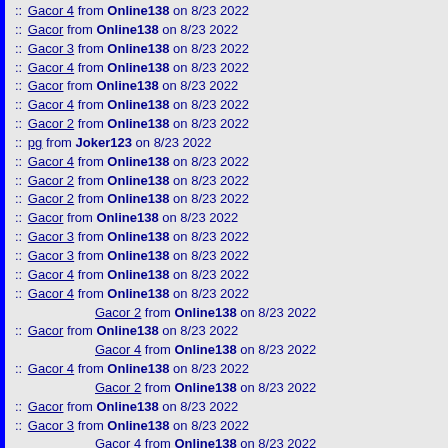:: Gacor 4 from Online138 on 8/23 2022
:: Gacor from Online138 on 8/23 2022
:: Gacor 3 from Online138 on 8/23 2022
:: Gacor 4 from Online138 on 8/23 2022
:: Gacor from Online138 on 8/23 2022
:: Gacor 4 from Online138 on 8/23 2022
:: Gacor 2 from Online138 on 8/23 2022
:: pg from Joker123 on 8/23 2022
:: Gacor 4 from Online138 on 8/23 2022
:: Gacor 2 from Online138 on 8/23 2022
:: Gacor 2 from Online138 on 8/23 2022
:: Gacor from Online138 on 8/23 2022
:: Gacor 3 from Online138 on 8/23 2022
:: Gacor 3 from Online138 on 8/23 2022
:: Gacor 4 from Online138 on 8/23 2022
:: Gacor 4 from Online138 on 8/23 2022
Gacor 2 from Online138 on 8/23 2022
:: Gacor from Online138 on 8/23 2022
Gacor 4 from Online138 on 8/23 2022
:: Gacor 4 from Online138 on 8/23 2022
Gacor 2 from Online138 on 8/23 2022
:: Gacor from Online138 on 8/23 2022
:: Gacor 3 from Online138 on 8/23 2022
Gacor 4 from Online138 on 8/23 2022
Gacor from Online138 on 8/23 2022
:: Gacor 3 from Online138 on 8/23 2022
Gacor from Online138 on 8/23 2022
:: Gacor 2 from Online138 on 8/23 2022
Gacor 4 from Online138 on 8/23 2022
:: Gacor from Online138 on 8/23 2022